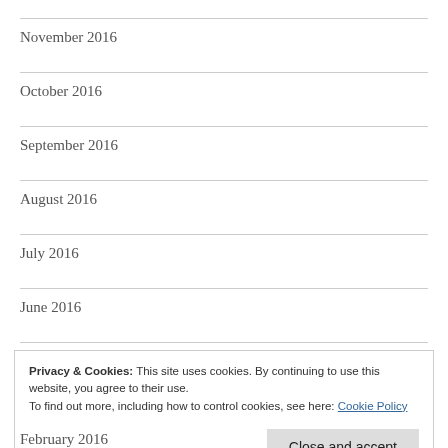November 2016
October 2016
September 2016
August 2016
July 2016
June 2016
Privacy & Cookies: This site uses cookies. By continuing to use this website, you agree to their use. To find out more, including how to control cookies, see here: Cookie Policy
February 2016